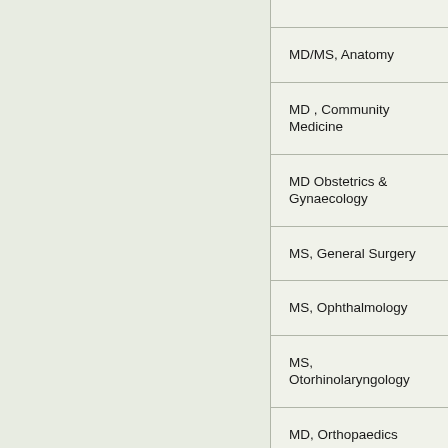| MD/MS, Anatomy |
| MD , Community Medicine |
| MD Obstetrics & Gynaecology |
| MS, General Surgery |
| MS, Ophthalmology |
| MS, Otorhinolaryngology |
| MD, Orthopaedics |
| DA ( Anaesthesiology) |
| D... |